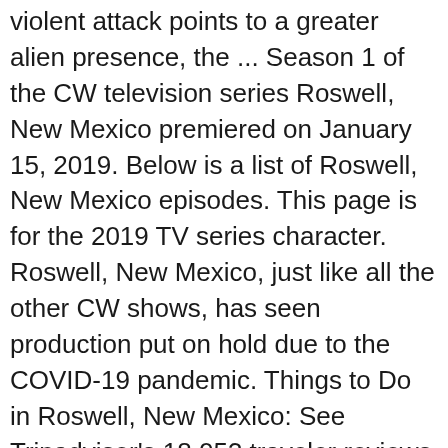violent attack points to a greater alien presence, the ... Season 1 of the CW television series Roswell, New Mexico premiered on January 15, 2019. Below is a list of Roswell, New Mexico episodes. This page is for the 2019 TV series character. Roswell, New Mexico, just like all the other CW shows, has seen production put on hold due to the COVID-19 pandemic. Things to Do in Roswell, New Mexico: See Tripadvisor's 18,053 traveler reviews and photos of Roswell tourist attractions. Since Roswell, New Mexico has matured all the characters, the adult version of Isobel (the alien foster sister of Max, originally played by Katherine Heigl) is now married to a human. Aug 05, 2020. Ten weeks out from Roswell, New Mexico's Season 2 premiere, showrunner Carina Adly Mackenzie has surprised fans with exactly five teases about what's to come. History enthusiasts will enjoy the Historical Center of Southeast New Mexico, a grand house filled with area artifacts, and a learning gallery of historical...